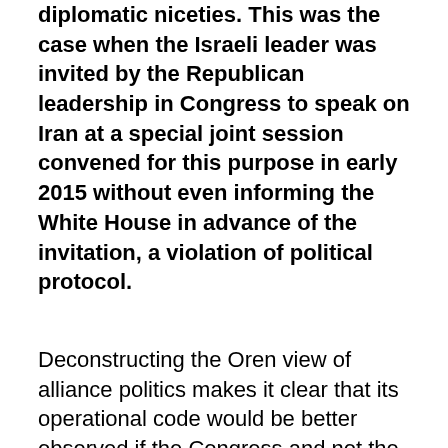diplomatic niceties. This was the case when the Israeli leader was invited by the Republican leadership in Congress to speak on Iran at a special joint session convened for this purpose in early 2015 without even informing the White House in advance of the invitation, a violation of political protocol.
Deconstructing the Oren view of alliance politics makes it clear that its operational code would be better observed if the Congress and not the President represented the United States in matters of foreign policy. Netanyahu and a majority of the U.S. Congress do seem to see eye to eye, including of course on whether the Iran Nuclear Agreement, as negotiated, should be approved. Across the board of foreign policy in the Middle East, Netanyahu and Congress